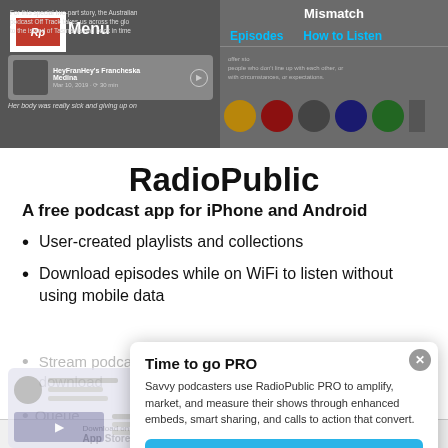[Figure (screenshot): Screenshot of RadioPublic app showing two mobile screens with podcast content. Left screen shows RadioPublic navigation with HeyFranHey episode. Right screen shows Mismatch podcast with Episodes and How to Listen navigation.]
RadioPublic
A free podcast app for iPhone and Android
User-created playlists and collections
Download episodes while on WiFi to listen without using mobile data
Stream podcast episodes without waiting for a download
Queue episodes for continuous playback
[Figure (screenshot): Partially visible RadioPublic app screenshot showing podcast queue feature]
Time to go PRO
Savvy podcasters use RadioPublic PRO to amplify, market, and measure their shows through enhanced embeds, smart sharing, and calls to action that convert.
Get started